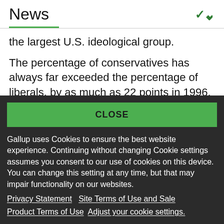News
the largest U.S. ideological group.
The percentage of conservatives has always far exceeded the percentage of liberals, by as much as 22 points in 1996. With more Americans
CLOSE
Gallup uses Cookies to ensure the best website experience. Continuing without changing Cookie settings assumes you consent to our use of cookies on this device. You can change this setting at any time, but that may impair functionality on our websites.
Privacy Statement   Site Terms of Use and Sale
Product Terms of Use   Adjust your cookie settings.